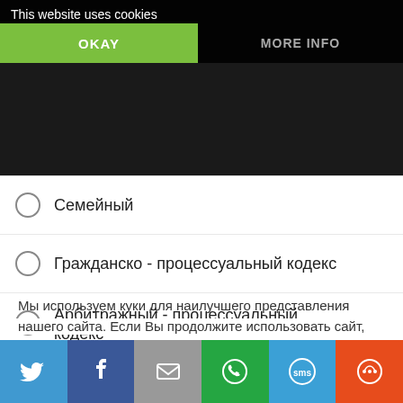This website uses cookies  OKAY  MORE INFO
Семейный
Гражданско - процессуальный кодекс
Арбитражный - процессуальный кодекс
Жилищный кодекс
Кодекс РФ об административных правонарушениях
Мы используем куки для наилучшего представления нашего сайта. Если Вы продолжите использовать сайт, мы будем считать что Вас это устраивает.